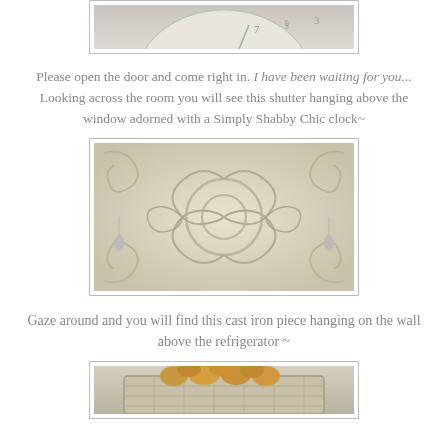[Figure (photo): Top portion of a decorative clock (Simply Shabby Chic), cream/white colored, partially cut off at top of page]
Please open the door and come right in. I have been waiting for you... Looking across the room you will see this shutter hanging above the window adorned with a Simply Shabby Chic clock~
[Figure (photo): Close-up of an ornate cream/white decorative shutter panel with scrolling floral relief carvings]
Gaze around and you will find this cast iron piece hanging on the wall above the refrigerator ~
[Figure (photo): Bottom portion showing a white wicker basket with what appears to be decorative balls or fruit inside, partially visible at bottom of page]